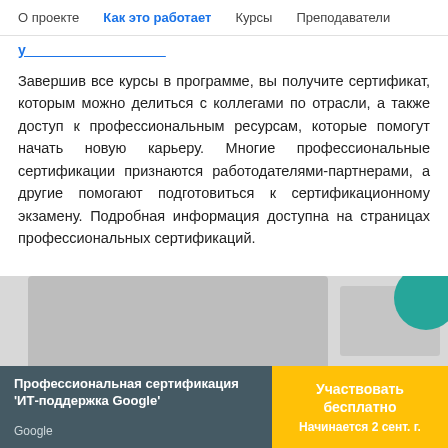О проекте   Как это работает   Курсы   Преподаватели
Завершив все курсы в программе, вы получите сертификат, которым можно делиться с коллегами по отрасли, а также доступ к профессиональным ресурсам, которые помогут начать новую карьеру. Многие профессиональные сертификации признаются работодателями-партнерами, а другие помогают подготовиться к сертификационному экзамену. Подробная информация доступна на страницах профессиональных сертификаций.
[Figure (photo): Photo of a person with a teal decorative circle element on the right side]
Профессиональная сертификация 'ИТ-поддержка Google'
Google
Участвовать бесплатно
Начинается 2 сент. г.